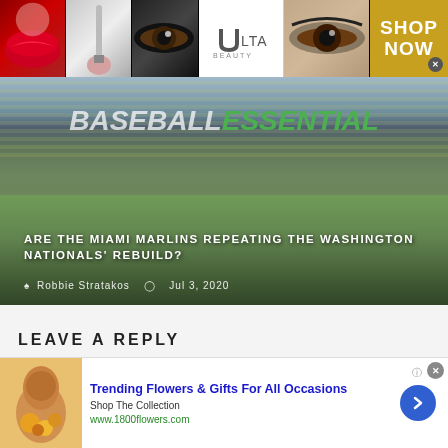[Figure (photo): Ulta Beauty advertisement banner with cosmetics imagery — lips with red lipstick, makeup brush, eye with dramatic makeup, Ulta Beauty logo, close-up eye, and 'SHOP NOW' call to action]
[Figure (photo): Baseball Essential website hero image showing a baseball stadium with the 'BASEBALL ESSENTIAL' logo overlay, article title 'ARE THE MIAMI MARLINS REPEATING THE WASHINGTON NATIONALS' REBUILD?', byline Robbie Stratakos, dated Jul 3, 2020]
LEAVE A REPLY
[Figure (photo): Advertisement for 1800flowers.com — 'Trending Flowers & Gifts For All Occasions', Shop The Collection, www.1800flowers.com, with image of woman holding flowers and a blue arrow button]